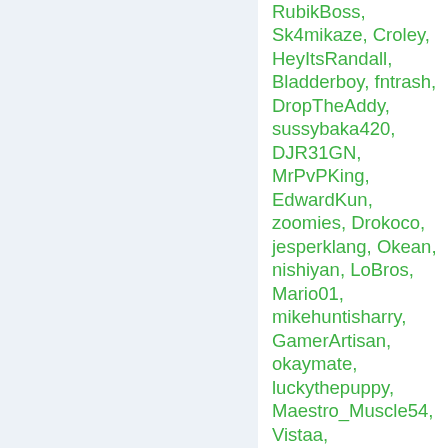RubikBoss, Sk4mikaze, Croley, HeyItsRandall, Bladderboy, fntrash, DropTheAddy, sussybaka420, DJR31GN, MrPvPKing, EdwardKun, zoomies, Drokoco, jesperklang, Okean, nishiyan, LoBros, Mario01, mikehuntisharry, GamerArtisan, okaymate, luckythepuppy, Maestro_Muscle54, Vistaa, Cookies_Nom, azyxd, wavalava, AsianSensation5, Omgwtfpwnd69, Omgwtf...